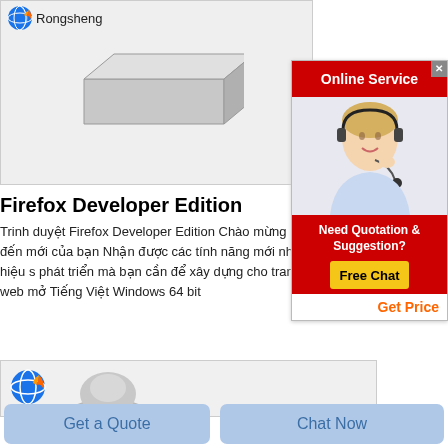[Figure (screenshot): Product card with Rongsheng brand logo (Firefox-style globe icon) at top left and a gray brick/block product image centered in a light gray card area.]
Firefox Developer Edition
Trinh duyệt Firefox Developer Edition Chào mừng đến mới của bạn Nhận được các tính năng mới nhất hiệu s phát triển mà bạn cần để xây dựng cho trang web mở Tiếng Việt Windows 64 bit
[Figure (screenshot): Online Service advertisement panel: red top bar with 'Online Service' text and close X button, photo of a smiling blonde woman with headset, red bottom section with 'Need Quotation & Suggestion?' text, yellow 'Free Chat' button, and white area with orange 'Get Price' text.]
[Figure (screenshot): Bottom product card with Firefox globe logo on left and a gray dome/shape product image.]
Get a Quote
Chat Now